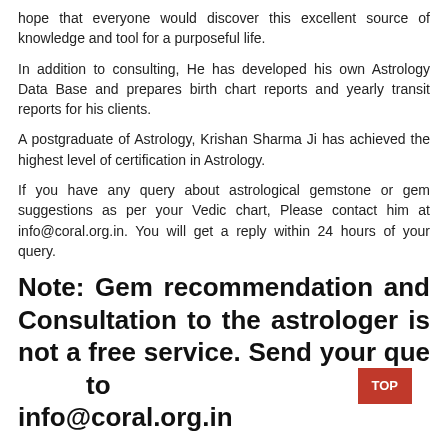hope that everyone would discover this excellent source of knowledge and tool for a purposeful life.
In addition to consulting, He has developed his own Astrology Data Base and prepares birth chart reports and yearly transit reports for his clients.
A postgraduate of Astrology, Krishan Sharma Ji has achieved the highest level of certification in Astrology.
If you have any query about astrological gemstone or gem suggestions as per your Vedic chart, Please contact him at info@coral.org.in. You will get a reply within 24 hours of your query.
Note: Gem recommendation and Consultation to the astrologer is not a free service. Send your query to info@coral.org.in